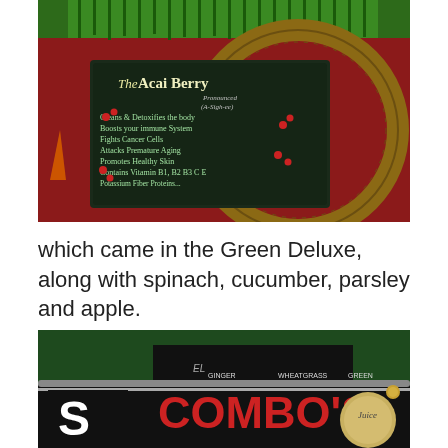[Figure (photo): A chalkboard sign about The Acai Berry placed inside a large circular wooden barrel surrounded by green grass at the top. The sign reads: 'The Acai Berry Pronounced (A-Sigh-ee) Cleans & Detoxifies the body Boosts your immune System Fights Cancer Cells Attacks Premature Aging Promotes Healthy Skin Contains Vitamin B1, B2 B3 C E Potassium Fiber Proteins...' with red berries illustrated around the text. The barrel sits on a red floor.]
which came in the Green Deluxe, along with spinach, cucumber, parsley and apple.
[Figure (photo): A photo of a juice bar storefront with green walls and a sign reading 'COMBO'S' in large red letters. There are chalkboard menus visible with categories like Ginger, Wheatgrass, and other items. The ceiling has metal railings and lighting fixtures.]